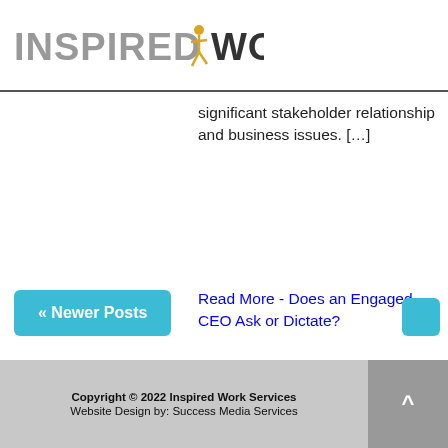[Figure (logo): Inspired Work logo with stylized running figure between 'INSPIRED' and 'WORK' text]
significant stakeholder relationship and business issues. […]
Read More - Does an Engaged CEO Ask or Dictate?
« Newer Posts
Copyright © 2022 Inspired Work Services
Website Design by: Success Media Services